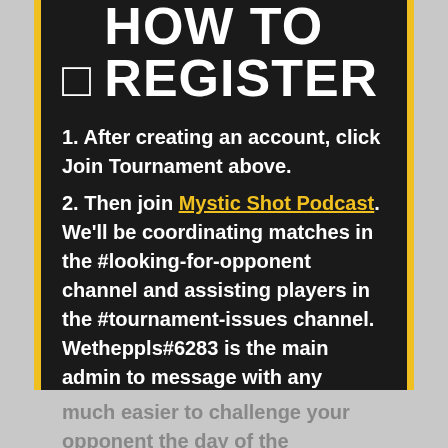HOW TO REGISTER
1. After creating an account, click Join Tournament above.
2. Then join Mystic Shot Podcast. We'll be coordinating matches in the #looking-for-opponent channel and assisting players in the #tournament-issues channel. Wetheppls#6283 is the main admin to message with any questions.
3. Lastly, head to your Account Settings and add your Riot ID in the 'Platform Links' tab. This will make it much easier to challenge your opponent the day of the tournament